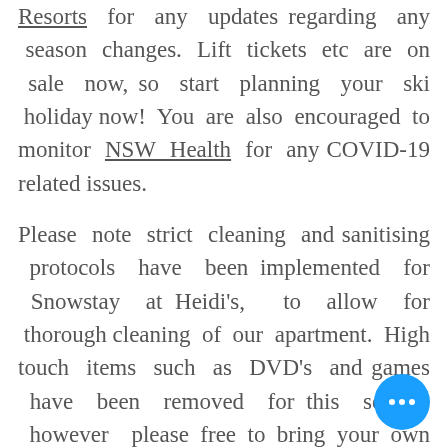Resorts for any updates regarding any season changes. Lift tickets etc are on sale now, so start planning your ski holiday now! You are also encouraged to monitor NSW Health for any COVID-19 related issues.

Please note strict cleaning and sanitising protocols have been implemented for Snowstay at Heidi's, to allow for thorough cleaning of our apartment. High touch items such as DVD's and games have been removed for this season, however please free to bring your own with yo...